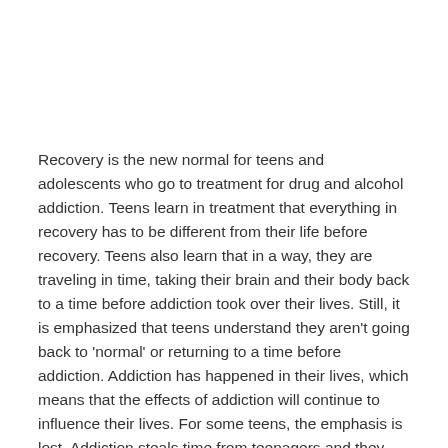Recovery is the new normal for teens and adolescents who go to treatment for drug and alcohol addiction. Teens learn in treatment that everything in recovery has to be different from their life before recovery. Teens also learn that in a way, they are traveling in time, taking their brain and their body back to a time before addiction took over their lives. Still, it is emphasized that teens understand they aren't going back to 'normal' or returning to a time before addiction. Addiction has happened in their lives, which means that the effects of addiction will continue to influence their lives. For some teens, the emphasis is lost. Addiction steals time from teenagers and they seek nothing more than getting back to a better time before addiction made its appearance. In pursuit of this impossibility, teens